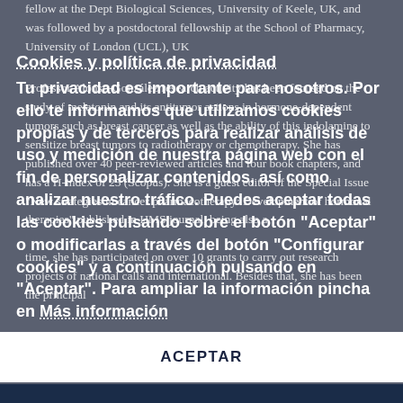fellow at the Dept Biological Sciences, University of Keele, UK, and was followed by a postdoctoral fellowship at the School of Pharmacy, University of London (UCL), UK
Professor Alonso-González research activity has been focused on the study of melatonin and its antitumor actions in hormone-dependent tumors such as breast cancer as well as the ability of this indolamine to sensitize breast tumors to radiotherapy or chemotherapy. She has published over 40 peer-reviewed articles and four book chapters, and has a H-index of 25 (Scopus). She is a guest editor of the Special Issue "New strategies in cancer pharmacotherapy: Development of hormonal therapies" published in IJMS journal, being also a time, she has participated on over 10 grants to carry out research projects of national calls and international. Besides that, she has been the principal
Cookies y política de privacidad
Tu privacidad es importante para nosotros. Por ello te informamos que utilizamos cookies propias y de terceros para realizar análisis de uso y medición de nuestra página web con el fin de personalizar contenidos, así como analizar nuestro tráfico. Puedes aceptar todas las cookies pulsando sobre el botón "Aceptar" o modificarlas a través del botón "Configurar cookies" y a continuación pulsando en "Aceptar". Para ampliar la información pincha en Más información
ACEPTAR
CONFIGURAR COOKIES